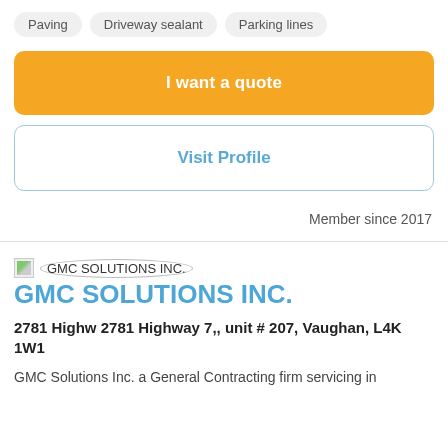Paving
Driveway sealant
Parking lines
I want a quote
Visit Profile
Member since 2017
[Figure (logo): GMC SOLUTIONS INC. company logo with oval border]
GMC SOLUTIONS INC.
2781 Highw 2781 Highway 7,, unit # 207, Vaughan, L4K 1W1
GMC Solutions Inc. a General Contracting firm servicing in